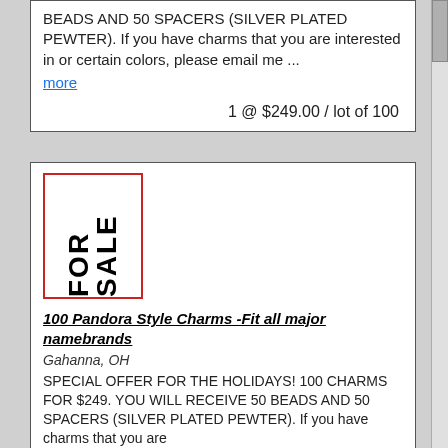BEADS AND 50 SPACERS (SILVER PLATED PEWTER). If you have charms that you are interested in or certain colors, please email me ...
more
1 @ $249.00 / lot of 100
[Figure (other): FOR SALE sign image — vertical text reading FOR SALE inside a red-bordered rectangle]
100 Pandora Style Charms -Fit all major namebrands
Gahanna, OH
SPECIAL OFFER FOR THE HOLIDAYS! 100 CHARMS FOR $249. YOU WILL RECEIVE 50 BEADS AND 50 SPACERS (SILVER PLATED PEWTER). If you have charms that you are